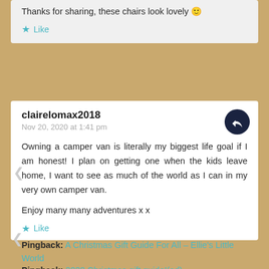Thanks for sharing, these chairs look lovely 🙂
Like
clairelomax2018
Nov 20, 2020 at 1:41 pm
Owning a camper van is literally my biggest life goal if I am honest! I plan on getting one when the kids leave home, I want to see as much of the world as I can in my very own camper van.
Enjoy many many adventures x x
Like
Pingback: A Christmas Gift Guide For All – Ellie's Little World
Pingback: 2020 Christmas gift guide!(ad) –